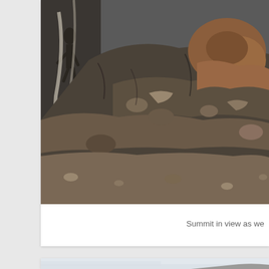[Figure (photo): Rocky mountain terrain photo showing steep rocky cliffside with dark and reddish-brown rocks, partial view of a person climbing on the left side]
Summit in view as we
[Figure (photo): Mountain summit photo showing a rocky peak against an overcast light grey-blue sky, with the summit in the lower right portion of the frame]